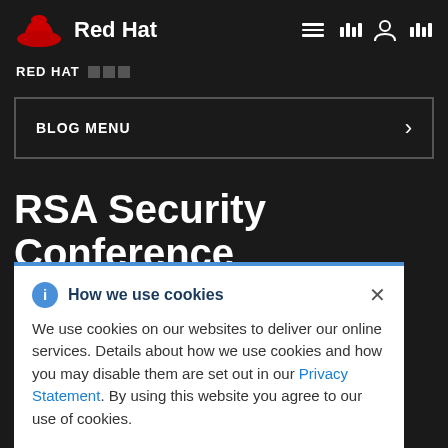Red Hat
RED HAT
BLOG MENU
RSA Security Conference
How we use cookies
We use cookies on our websites to deliver our online services. Details about how we use cookies and how you may disable them are set out in our Privacy Statement. By using this website you agree to our use of cookies.